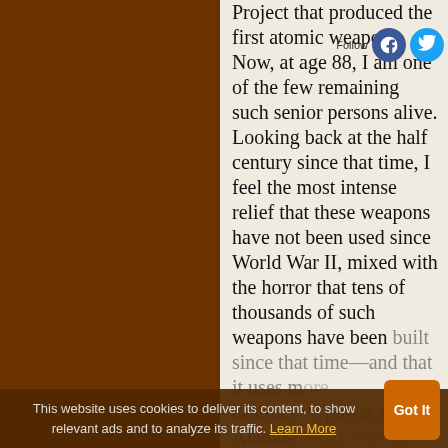Project that produced the first atomic weapons. Now, at age 88, I am one of the few remaining such senior persons alive. Looking back at the half century since that time, I feel the most intense relief that these weapons have not been used since World War II, mixed with the horror that tens of thousands of such weapons have been built since that time—and that it uses more destructive power than at Los Alamos could ever have imagined.
This website uses cookies to deliver its content, to show relevant ads and to analyze its traffic. Learn More